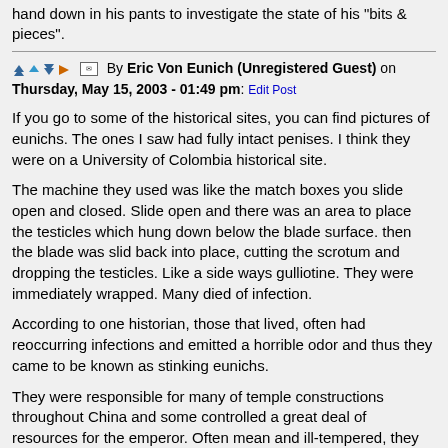hand down in his pants to investigate the state of his "bits & pieces".
By Eric Von Eunich (Unregistered Guest) on Thursday, May 15, 2003 - 01:49 pm: Edit Post
If you go to some of the historical sites, you can find pictures of eunichs. The ones I saw had fully intact penises. I think they were on a University of Colombia historical site.
The machine they used was like the match boxes you slide open and closed. Slide open and there was an area to place the testicles which hung down below the blade surface. then the blade was slid back into place, cutting the scrotum and dropping the testicles. Like a side ways gulliotine. They were immediately wrapped. Many died of infection.
According to one historian, those that lived, often had reoccurring infections and emitted a horrible odor and thus they came to be known as stinking eunichs.
They were responsible for many of temple constructions throughout China and some controlled a great deal of resources for the emperor. Often mean and ill-tempered, they hoarded agriculture resources by controlling and